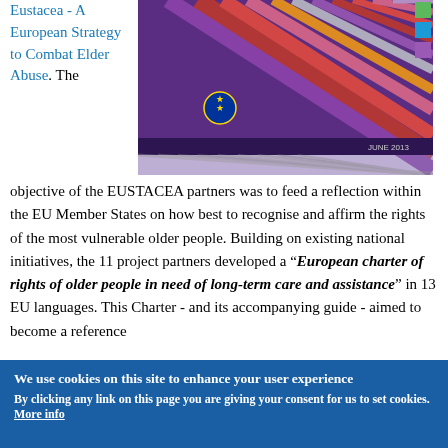Eustacea - A European Strategy to Combat Elder Abuse. The objective of the EUSTACEA partners was to feed a reflection within the EU Member States on how best to recognise and affirm the rights of the most vulnerable older people. Building on existing national initiatives, the 11 project partners developed a “European charter of rights of older people in need of long-term care and assistance” in 13 EU languages. This Charter - and its accompanying guide - aimed to become a reference
[Figure (illustration): Book cover image with diagonal stripe pattern in purple/red/pink tones with EU stars logo, dated JUNE 2013, related to long-term care and assistance]
We use cookies on this site to enhance your user experience
By clicking any link on this page you are giving your consent for us to set cookies.
More info